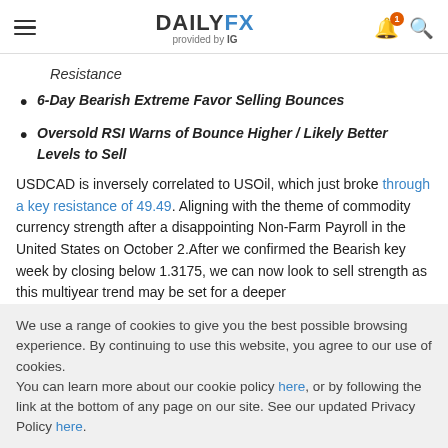DAILYFX provided by IG
Resistance
6-Day Bearish Extreme Favor Selling Bounces
Oversold RSI Warns of Bounce Higher / Likely Better Levels to Sell
USDCAD is inversely correlated to USOil, which just broke through a key resistance of 49.49. Aligning with the theme of commodity currency strength after a disappointing Non-Farm Payroll in the United States on October 2.After we confirmed the Bearish key week by closing below 1.3175, we can now look to sell strength as this multiyear trend may be set for a deeper
We use a range of cookies to give you the best possible browsing experience. By continuing to use this website, you agree to our use of cookies.
You can learn more about our cookie policy here, or by following the link at the bottom of any page on our site. See our updated Privacy Policy here.
Accept